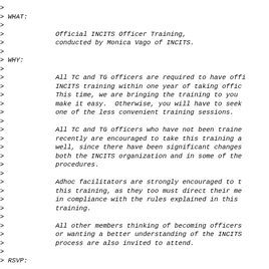>
> WHAT:
>
>             Official INCITS Officer Training,
>             conducted by Monica Vago of INCITS.
>
> WHY:
>
>             All TC and TG officers are required to have official INCITS training within one year of taking office. This time, we are bringing the training to you to make it easy.  Otherwise, you will have to seek out one of the less convenient training sessions.
>
>             All TC and TG officers who have not been trained recently are encouraged to take this training as well, since there have been significant changes in both the INCITS organization and in some of the procedures.
>
>             Adhoc facilitators are strongly encouraged to take this training, as they too must direct their meetings in compliance with the rules explained in this training.
>
>             All other members thinking of becoming officers, or wanting a better understanding of the INCITS process are also invited to attend.
>
> RSVP: